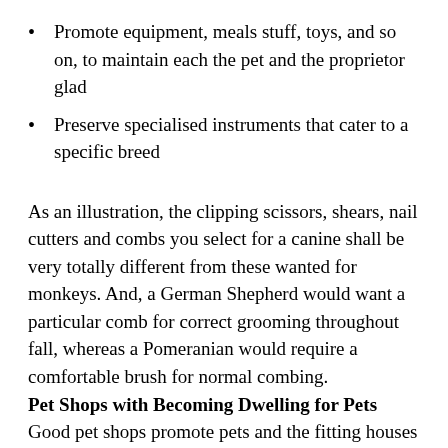Promote equipment, meals stuff, toys, and so on, to maintain each the pet and the proprietor glad
Preserve specialised instruments that cater to a specific breed
As an illustration, the clipping scissors, shears, nail cutters and combs you select for a canine shall be very totally different from these wanted for monkeys. And, a German Shepherd would want a particular comb for correct grooming throughout fall, whereas a Pomeranian would require a comfortable brush for normal combing.
Pet Shops with Becoming Dwelling for Pets
Good pet shops promote pets and the fitting houses for them. A beginner pet lover would in all probability not know one of the best ways to maintain his pet. Nonetheless, an skilled pet store assistant would instantly present recommendations on creating houses for pets and enabling them to